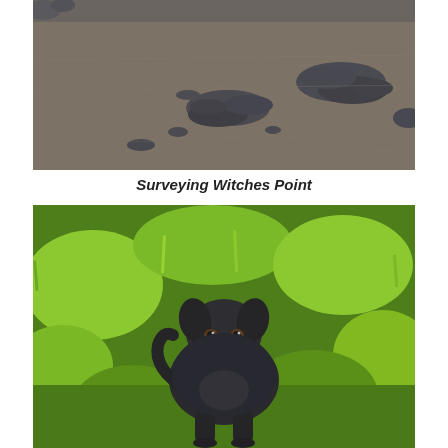[Figure (photo): Aerial or elevated view of a dark sandy beach with scattered rocks and rock formations visible on the sand surface.]
Surveying Witches Point
[Figure (photo): A dark grey/black dog standing on green grass, looking at the camera with its tongue out. Lush green grass and hillside visible in background.]